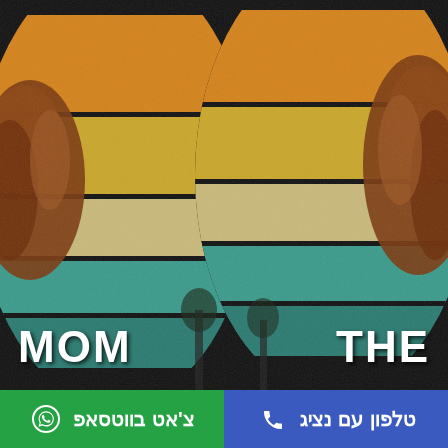[Figure (photo): Product image showing two round clocks/items with retro vintage sunset stripe design (orange, yellow, cream, teal stripes on black background) and female figures with brown hair on sides. Text 'MOM' visible bottom left and 'THE' bottom right in white bold font.]
MOM
THE
צ'אט בווטסאפ
טלפון עם נציג